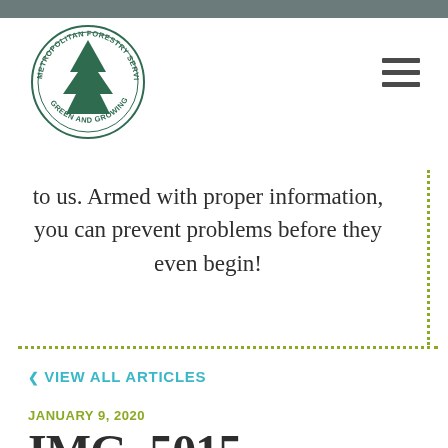[Figure (logo): Metropolitan Forestry Services circular logo with a pine tree in center and text around the perimeter reading 'METROPOLITAN FORESTRY SERVICES' and 'GREEN AND GROWING']
to us. Armed with proper information, you can prevent problems before they even begin!
‹ VIEW ALL ARTICLES
JANUARY 9, 2020
IMG_5015